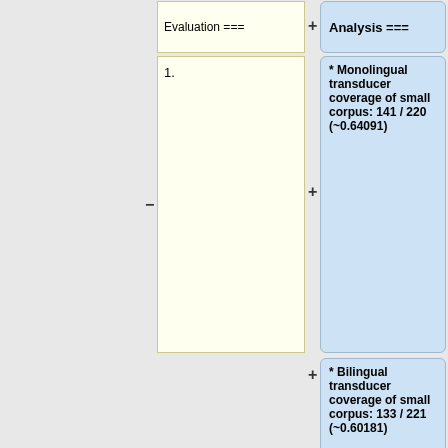Evaluation ===
Analysis ===
1.
* Monolingual transducer coverage of small corpus: 141 / 220 (~0.64091)
* Bilingual transducer coverage of small corpus: 133 / 221 (~0.60181)
=== Sentence Evaluation ===
==== 1. ====